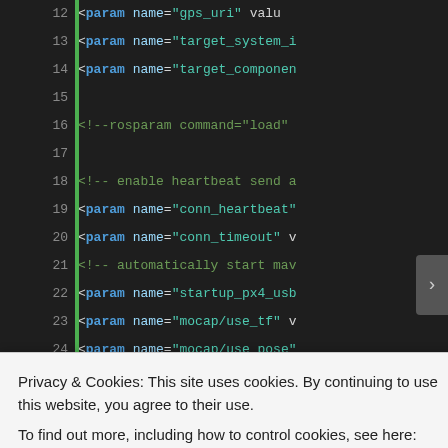[Figure (screenshot): Code editor screenshot showing XML/ROS launch file lines 12–33 with syntax highlighting. Lines include param tags for target_system, target_component, conn_heartbeat, conn_timeout, startup_px4_usb, mocap/use_tf, mocap/use_pose, node tags for setpoint_pub and vicon_bridge, and a rosparam command. A green vertical bar marks the left side of the code area.]
Privacy & Cookies: This site uses cookies. By continuing to use this website, you agree to their use.
To find out more, including how to control cookies, see here: Cookie Policy